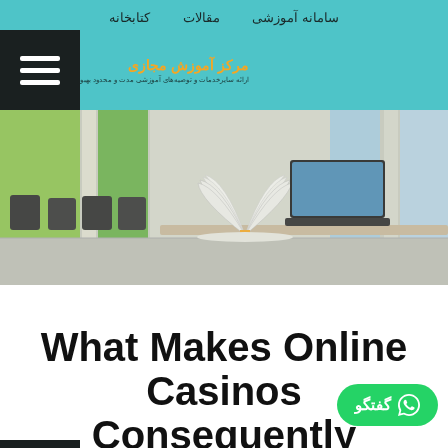سامانه آموزشی   مقالات   کتابخانه
[Figure (logo): Brand logo with orange circular icon and Persian text: مرکز آموزش مجازی with subtitle text below]
[Figure (photo): Blurred classroom interior with open book and laptop on a desk in the foreground]
What Makes Online Casinos Consequently